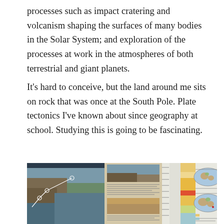processes such as impact cratering and volcanism shaping the surfaces of many bodies in the Solar System; and exploration of the processes at work in the atmospheres of both terrestrial and giant planets.
It’s hard to conceive, but the land around me sits on rock that was once at the South Pole. Plate tectonics I’ve known about since geography at school. Studying this is going to be fascinating.
[Figure (photo): Photograph of an outdoor geological information board or display panel. The board shows multiple sections: on the left, an aerial or landscape photograph of coastal cliffs and sea with white lines drawn over it; in the middle, text panels with geological information and smaller landscape photos; on the right, a geological timeline/stratigraphic chart with yellow and orange colored sections, and two oval world maps showing continental positions at different geological periods.]